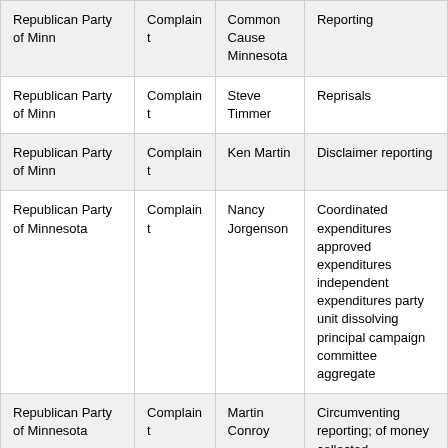| Republican Party of Minn | Complaint | Common Cause Minnesota | Reporting |
| Republican Party of Minn | Complaint | Steve Timmer | Reprisals |
| Republican Party of Minn | Complaint | Ken Martin | Disclaimer reporting |
| Republican Party of Minnesota | Complaint | Nancy Jorgenson | Coordinated expenditures approved expenditures independent expenditures party unit dissolving principal campaign committee aggregate |
| Republican Party of Minnesota | Complaint | Martin Conroy | Circumventing reporting; of money collected |